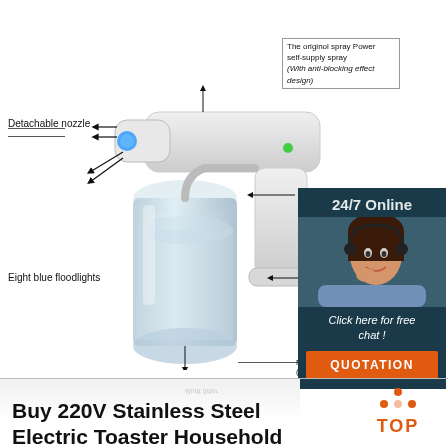[Figure (illustration): Product diagram of a handheld electric nano spray gun/sanitizer device with labeled parts: Detachable nozzle, The original spray Power self-supply spray (With anti-blocking effect design), Eight blue floodlights, Built filter. A chat overlay box shows '24/7 Online' with a customer service representative photo, 'Click here for free chat!', and QUOTATION button.]
Buy 220V Stainless Steel Electric Toaster Household